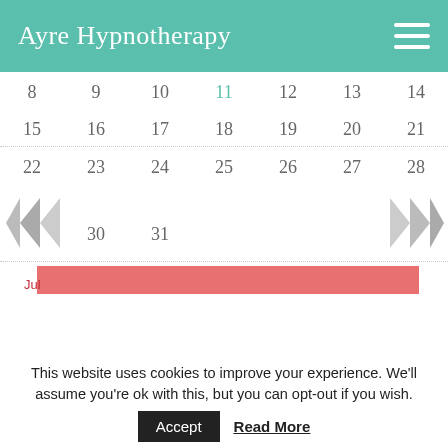Ayre Hypnotherapy
[Figure (other): Calendar grid showing dates 8-31 with navigation arrows and a pink/red highlighted bar at the bottom. Date 11 is highlighted in teal. Navigation double-chevron arrows appear on left and right sides.]
This website uses cookies to improve your experience. We'll assume you're ok with this, but you can opt-out if you wish.
Accept    Read More